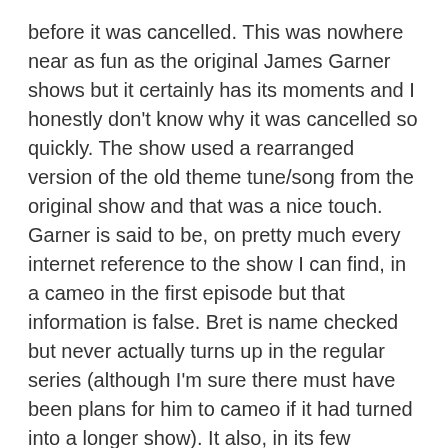before it was cancelled. This was nowhere near as fun as the original James Garner shows but it certainly has its moments and I honestly don't know why it was cancelled so quickly. The show used a rearranged version of the old theme tune/song from the original show and that was a nice touch. Garner is said to be, on pretty much every internet reference to the show I can find, in a cameo in the first episode but that information is false. Bret is name checked but never actually turns up in the regular series (although I'm sure there must have been plans for him to cameo if it had turned into a longer show). It also, in its few episodes, gets a number of 'early career appearances' from well known actors today such a young James Woods (playing a bad guy and bad poker player, obviously) and a not quite 'seasoned veteran' appearance by Harry Dean Stanton as a professional gunfighter in one episode. There's also a double episode which was obviously meant to start the series off (because of the relationship between Frank and Blanchard's characters) and act as a second pilot but this is just plonked into the middle of the show with no rhyme or reason. Blanchard's character is actually unnecessary as a regular and each episode seems to have the two bizarrely just